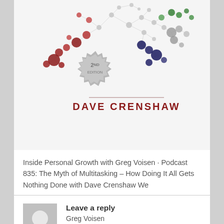[Figure (illustration): Book cover of 'The Myth of Multitasking' 2nd Edition by Dave Crenshaw, showing a network diagram of colored dots and lines with a '2ND EDITION' badge and the author's name 'DAVE CRENSHAW' in red below a decorative line.]
Inside Personal Growth with Greg Voisen · Podcast 835: The Myth of Multitasking – How Doing It All Gets Nothing Done with Dave Crenshaw We
Greg Voisen
Leave a reply